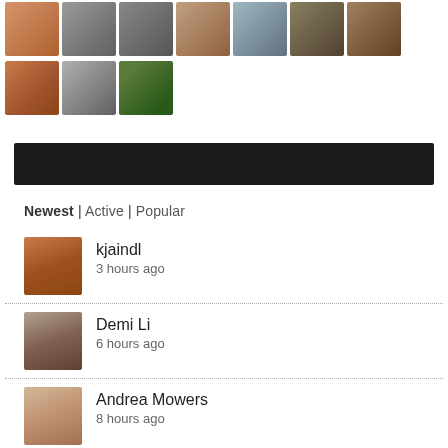[Figure (photo): Row of cropped profile photos at top of page (partial, 7 thumbnails visible)]
[Figure (photo): Second row of 3 profile photo thumbnails]
[Figure (other): Black banner/advertisement bar]
Newest | Active | Popular
[Figure (photo): Profile avatar for kjaindl]
kjaindl
3 hours ago
[Figure (photo): Profile avatar for Demi Li]
Demi Li
6 hours ago
[Figure (photo): Profile avatar for Andrea Mowers]
Andrea Mowers
8 hours ago